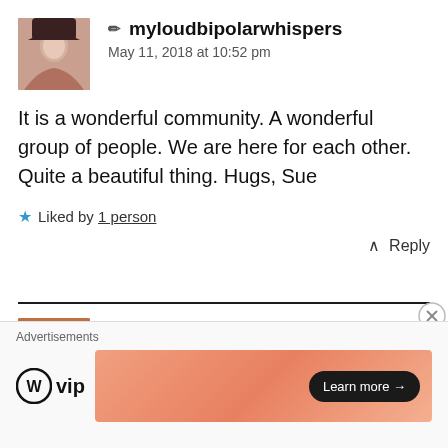[Figure (photo): User avatar photo of myloudbipolarwhispers — woman with dark hair]
✏ myloudbipolarwhispers
May 11, 2018 at 10:52 pm
It is a wonderful community. A wonderful group of people. We are here for each other. Quite a beautiful thing. Hugs, Sue
★ Liked by 1 person
^ Reply
[Figure (photo): User avatar photo of Saguren — man]
Saguren
December 6, 2018 at 2:00 pm
Thank you for sharing this. I am going to start
Advertisements
[Figure (logo): WordPress VIP logo with WP circle icon and 'vip' text]
[Figure (infographic): Orange/salmon gradient advertisement banner with Learn more arrow button]